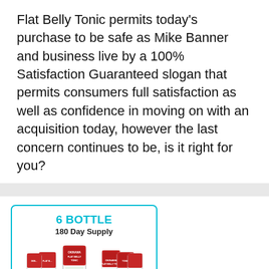Flat Belly Tonic permits today's purchase to be safe as Mike Banner and business live by a 100% Satisfaction Guaranteed slogan that permits consumers full satisfaction as well as confidence in moving on with an acquisition today, however the last concern continues to be, is it right for you?
[Figure (other): Product card showing 6 Bottle 180 Day Supply of Okinawa Flat Belly Tonic supplement bottles with a 'Most Popular' badge and price of $49 per bottle, with a yellow buy button at the bottom.]